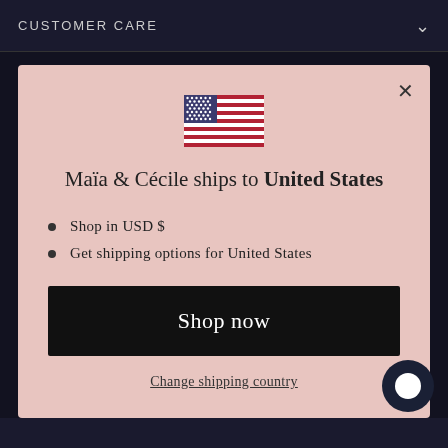CUSTOMER CARE
[Figure (illustration): US flag emoji/illustration centered in modal]
Maïa & Cécile ships to United States
Shop in USD $
Get shipping options for United States
Shop now
Change shipping country